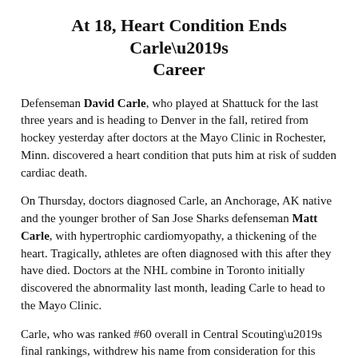At 18, Heart Condition Ends Carle's Career
Defenseman David Carle, who played at Shattuck for the last three years and is heading to Denver in the fall, retired from hockey yesterday after doctors at the Mayo Clinic in Rochester, Minn. discovered a heart condition that puts him at risk of sudden cardiac death.
On Thursday, doctors diagnosed Carle, an Anchorage, AK native and the younger brother of San Jose Sharks defenseman Matt Carle, with hypertrophic cardiomyopathy, a thickening of the heart. Tragically, athletes are often diagnosed with this after they have died. Doctors at the NHL combine in Toronto initially discovered the abnormality last month, leading Carle to head to the Mayo Clinic.
Carle, who was ranked #60 overall in Central Scouting’s final rankings, withdrew his name from consideration for this weekend’s NHL draft.